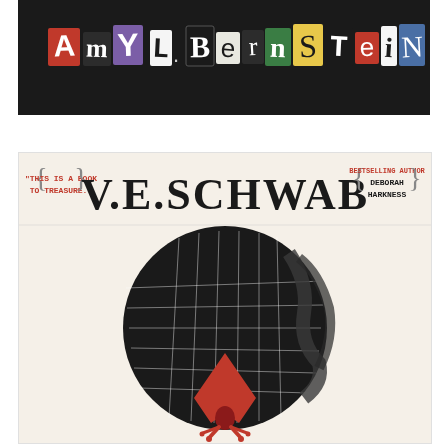[Figure (photo): Dark/black background banner with author name 'Amy L. Bernstein' spelled out in multicolored ransom-note style cut-out letters]
V.E. Schwab Is Pure Magic
[Figure (photo): Book cover for a V.E. Schwab novel. Cream/off-white background. Top band shows quote 'This is a book to treasure.' flanking large bold text 'V.E. SCHWAB' and 'Bestselling author Deborah Harkness' in braces. Below is a black circular map/globe design with a red figure (person in a cape) falling or floating beneath it, with red claw-like hands at the bottom.]